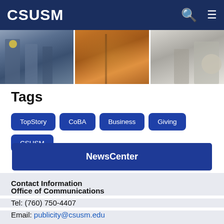CSUSM
[Figure (photo): Three photo panels: people in suits at an event, a hallway/corridor, and people seated at a meeting]
Tags
TopStory
CoBA
Business
Giving
CSUSM
NewsCenter
Contact Information
Office of Communications
Tel:  (760) 750-4407
Email:  publicity@csusm.edu